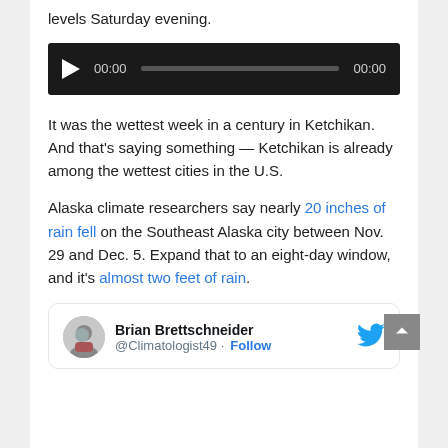levels Saturday evening.
[Figure (other): Audio player bar with play button, current time 00:00, progress bar, and duration 00:00 on dark background]
It was the wettest week in a century in Ketchikan. And that’s saying something — Ketchikan is already among the wettest cities in the U.S.
Alaska climate researchers say nearly 20 inches of rain fell on the Southeast Alaska city between Nov. 29 and Dec. 5. Expand that to an eight-day window, and it’s almost two feet of rain.
[Figure (screenshot): Embedded tweet card from Brian Brettschneider (@Climatologist49) with Follow button and Twitter bird logo]